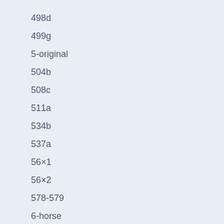498d
499g
5-original
504b
508c
511a
534b
537a
56×1
56×2
578-579
6-horse
61l2
62×1
62×4